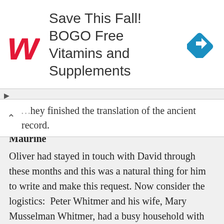[Figure (infographic): Walgreens advertisement banner: red cursive W logo on left, large text 'Save This Fall! BOGO Free Vitamins and Supplements', blue diamond navigation arrow icon on right]
…hey finished the translation of the ancient record.
Maurine
Oliver had stayed in touch with David through these months and this was a natural thing for him to write and make this request. Now consider the logistics:  Peter Whitmer and his wife, Mary Musselman Whitmer, had a busy household with seven children, Christian, Jacob, John, David, Catherine, Peter Whitmer, Jr., and Elizabeth Ann. They had lost one daughter, Nancy.  Another woman was living in their small 20 x 30 foot cabin